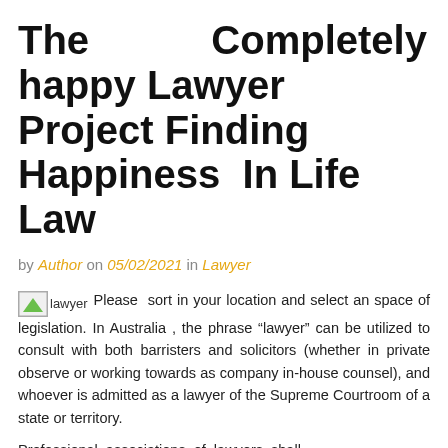The Completely happy Lawyer Project Finding Happiness In Life Law
by Author on 05/02/2021 in Lawyer
[Figure (photo): Small image placeholder labeled 'lawyer' with a green triangle icon]
Please sort in your location and select an space of legislation. In Australia , the phrase “lawyer” can be utilized to consult with both barristers and solicitors (whether in private observe or working towards as company in-house counsel), and whoever is admitted as a lawyer of the Supreme Courtroom of a state or territory.
Professional associations of lawyers shall